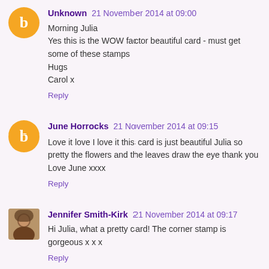Unknown 21 November 2014 at 09:00
Morning Julia
Yes this is the WOW factor beautiful card - must get some of these stamps
Hugs
Carol x
Reply
June Horrocks 21 November 2014 at 09:15
Love it love I love it this card is just beautiful Julia so pretty the flowers and the leaves draw the eye thank you Love June xxxx
Reply
Jennifer Smith-Kirk 21 November 2014 at 09:17
Hi Julia, what a pretty card! The corner stamp is gorgeous x x x
Reply